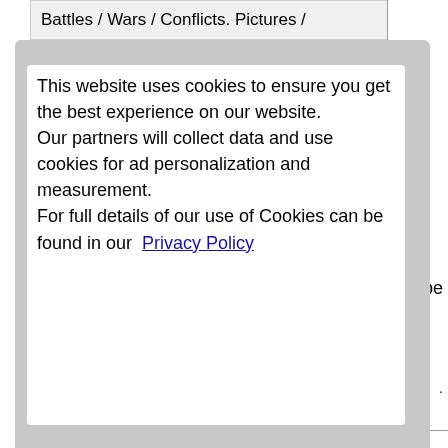Battles / Wars / Conflicts. Pictures /
This website uses cookies to ensure you get the best experience on our website.
Our partners will collect data and use cookies for ad personalization and measurement.
For full details of our use of Cookies can be found in our  Privacy Policy
ype
I accept